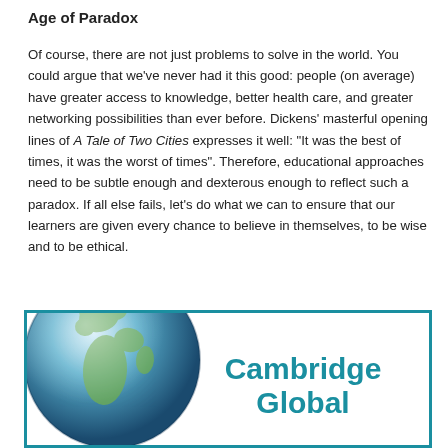Age of Paradox
Of course, there are not just problems to solve in the world. You could argue that we’ve never had it this good: people (on average) have greater access to knowledge, better health care, and greater networking possibilities than ever before. Dickens’ masterful opening lines of A Tale of Two Cities expresses it well: “It was the best of times, it was the worst of times”. Therefore, educational approaches need to be subtle enough and dexterous enough to reflect such a paradox. If all else fails, let’s do what we can to ensure that our learners are given every chance to believe in themselves, to be wise and to be ethical.
[Figure (illustration): A teal-bordered box containing a globe image on the left and the text 'Cambridge Global' in large teal bold font on the right.]